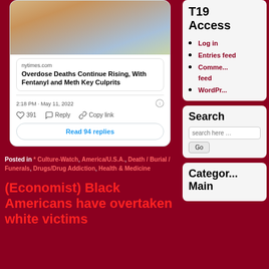[Figure (photo): Photo showing a woman at what appears to be an outdoor event, cropped at the top of the page]
nytimes.com
Overdose Deaths Continue Rising, With Fentanyl and Meth Key Culprits
2:18 PM · May 11, 2022
391   Reply   Copy link
Read 94 replies
Posted in * Culture-Watch, America/U.S.A., Death / Burial / Funerals, Drugs/Drug Addiction, Health & Medicine
(Economist) Black Americans have overtaken white victims
T19 Access
Log in
Entries feed
Comments feed
WordPress
Search
Categories Main